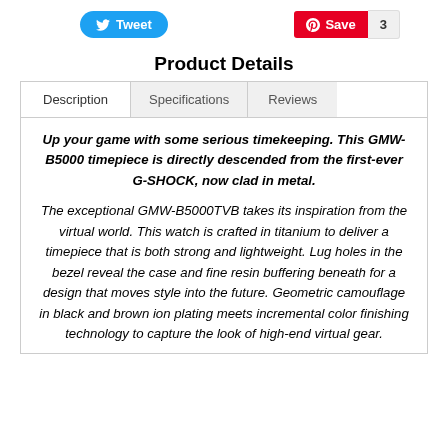Tweet  Save 3
Product Details
Description  Specifications  Reviews
Up your game with some serious timekeeping. This GMW-B5000 timepiece is directly descended from the first-ever G-SHOCK, now clad in metal.

The exceptional GMW-B5000TVB takes its inspiration from the virtual world. This watch is crafted in titanium to deliver a timepiece that is both strong and lightweight. Lug holes in the bezel reveal the case and fine resin buffering beneath for a design that moves style into the future. Geometric camouflage in black and brown ion plating meets incremental color finishing technology to capture the look of high-end virtual gear.